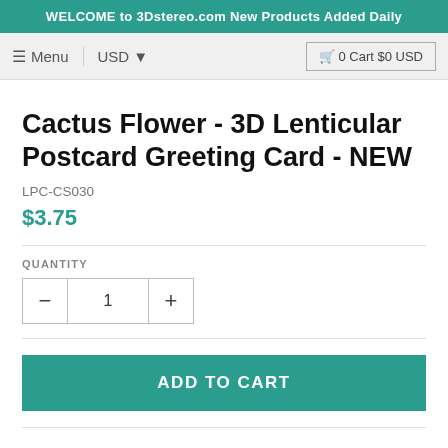WELCOME to 3Dstereo.com New Products Added Daily
≡ Menu  USD ▾  🛒 0 Cart $0 USD
Cactus Flower - 3D Lenticular Postcard Greeting Card - NEW
LPC-CS030
$3.75
QUANTITY
- 1 +
ADD TO CART